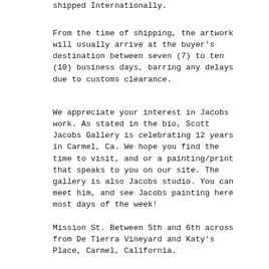shipped Internationally.
From the time of shipping, the artwork will usually arrive at the buyer's destination between seven (7) to ten (10) business days, barring any delays due to customs clearance.
We appreciate your interest in Jacobs work. As stated in the bio, Scott Jacobs Gallery is celebrating 12 years in Carmel, Ca. We hope you find the time to visit, and or a painting/print that speaks to you on our site. The gallery is also Jacobs studio. You can meet him, and see Jacobs painting here most days of the week!
Mission St. Between 5th and 6th across from De Tierra Vineyard and Katy's Place, Carmel, California.